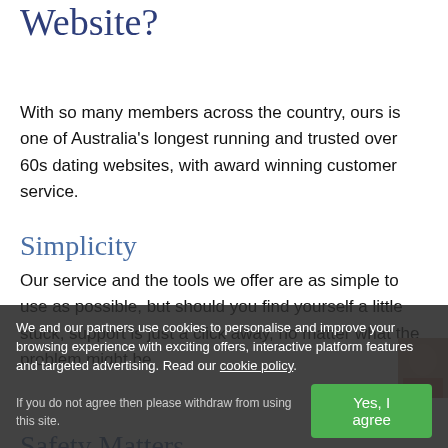Website?
With so many members across the country, ours is one of Australia's longest running and trusted over 60s dating websites, with award winning customer service.
Simplicity
Our service and the tools we offer are as simple to use as possible, but should you find yourself a little stuck, support is just a click away, no matter what the problem might be.
Safety Matters
We take your safety and privacy very seriously. Our team of moderators work 24/7, checking each and every member profile on our website, ensuring everyone who uses our service has their personal details kept under lock and key.
We and our partners use cookies to personalise and improve your browsing experience with exciting offers, interactive platform features and targeted advertising. Read our cookie policy.
If you do not agree then please withdraw from using this site.